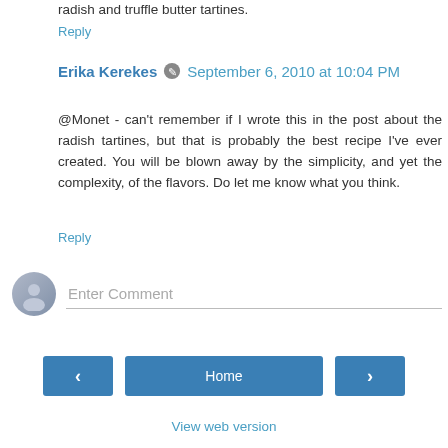radish and truffle butter tartines.
Reply
Erika Kerekes  September 6, 2010 at 10:04 PM
@Monet - can't remember if I wrote this in the post about the radish tartines, but that is probably the best recipe I've ever created. You will be blown away by the simplicity, and yet the complexity, of the flavors. Do let me know what you think.
Reply
Enter Comment
Home
View web version